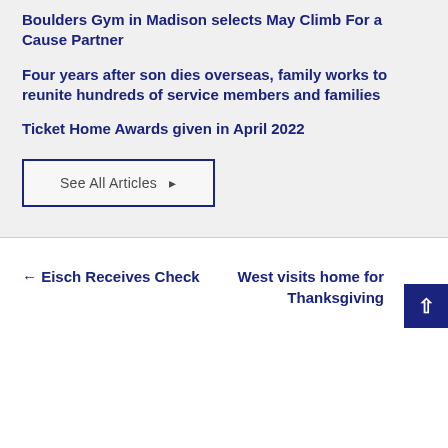Boulders Gym in Madison selects May Climb For a Cause Partner
Four years after son dies overseas, family works to reunite hundreds of service members and families
Ticket Home Awards given in April 2022
See All Articles →
← Eisch Receives Check
West visits home for Thanksgiving